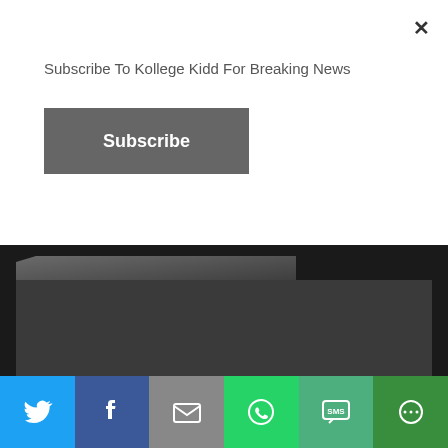×
Subscribe To Kollege Kidd For Breaking News
Subscribe
NEWS
← Birdman Says Lil' Wayne Is In 'Good Spirit'
Howard University Students Lauren Cofield and Laurin Compton's Mothers Stripped of Alpha Kappa Alpha Membership →
[Figure (infographic): Social share bar with Twitter, Facebook, Email, WhatsApp, SMS, and More buttons]